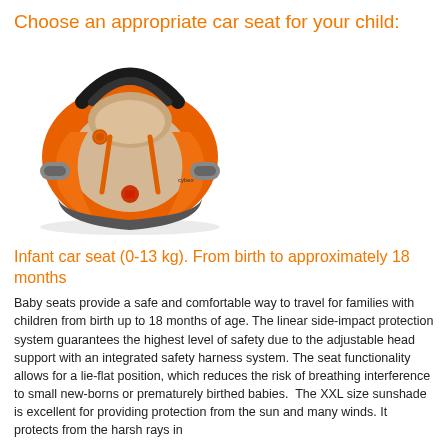Choose an appropriate car seat for your child:
[Figure (photo): Orange infant car seat (baby carrier) with beige interior padding, black handle, and gray base with side grip handles. The seat is shown at an angle on a white background.]
Infant car seat (0-13 kg). From birth to approximately 18 months
Baby seats provide a safe and comfortable way to travel for families with children from birth up to 18 months of age. The linear side-impact protection system guarantees the highest level of safety due to the adjustable head support with an integrated safety harness system. The seat functionality allows for a lie-flat position, which reduces the risk of breathing interference to small new-borns or prematurely birthed babies.  The XXL size sunshade is excellent for providing protection from the sun and many winds. It protects from the harsh rays in